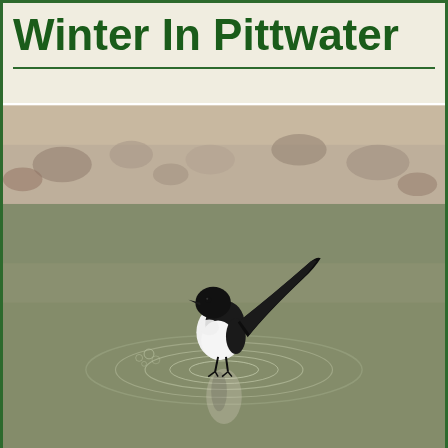Winter In Pittwater
[Figure (photo): A willie wagtail bird with black and white plumage standing in shallow water, with its tail raised. The bird is reflected in the water surface which shows ripple circles around it. Rocky ground visible in the blurred background.]